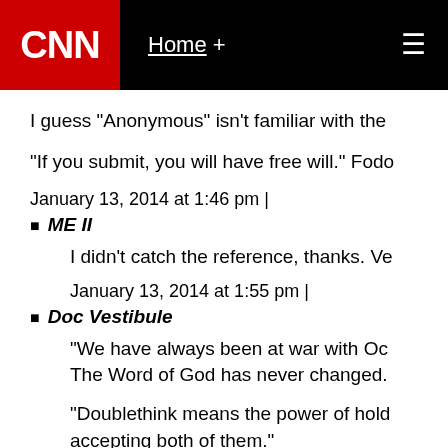CNN | Home +
I guess "Anonymous" isn't familiar with the
"If you submit, you will have free will." Fodo
January 13, 2014 at 1:46 pm |
ME II
I didn't catch the reference, thanks. Ve
January 13, 2014 at 1:55 pm |
Doc Vestibule
"We have always been at war with Oc The Word of God has never changed.
"Doublethink means the power of hold accepting both of them." God is omniscient. Humans have free God is Love (omnibenevolent). Sinner